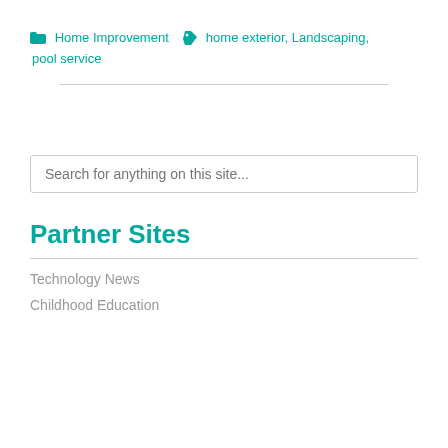Home Improvement   home exterior, Landscaping, pool service
Search for anything on this site...
Partner Sites
Technology News
Childhood Education